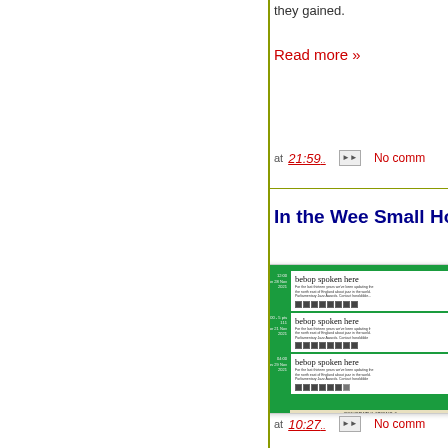they gained.
Read more »
at 21:59.
No comm
In the Wee Small Ho
[Figure (screenshot): Screenshot of the 'bebop spoken here' blog website showing three repeated entries of the blog header with title 'bebop spoken here', descriptive text about updating from the north east of England about jazz, and CONGRATULATIONS text at the bottom.]
at 10:27.
No comm